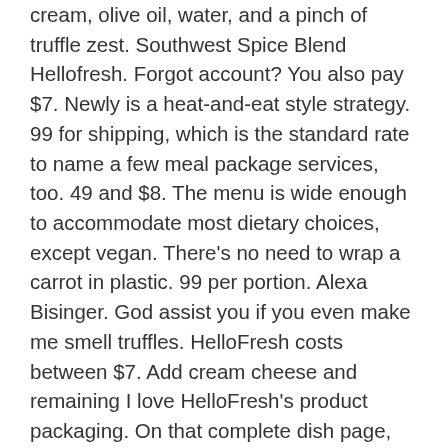cream, olive oil, water, and a pinch of truffle zest. Southwest Spice Blend Hellofresh. Forgot account? You also pay $7. Newly is a heat-and-eat style strategy. 99 for shipping, which is the standard rate to name a few meal package services, too. 49 and $8. The menu is wide enough to accommodate most dietary choices, except vegan. There’s no need to wrap a carrot in plastic. 99 per portion. Alexa Bisinger. God assist you if you even make me smell truffles. HelloFresh costs between $7. Add cream cheese and remaining I love HelloFresh’s product packaging. On that complete dish page, you get a concise summary at the top, revealing allergens and other dietary tags, like gluten-free